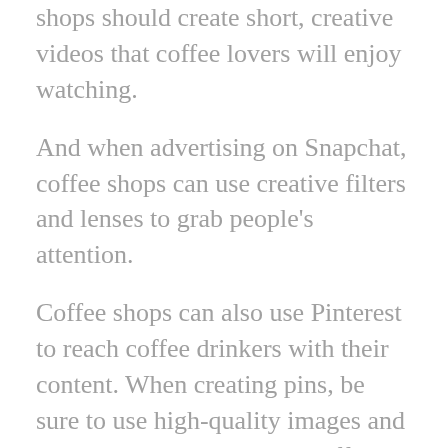shops should create short, creative videos that coffee lovers will enjoy watching.
And when advertising on Snapchat, coffee shops can use creative filters and lenses to grab people's attention.
Coffee shops can also use Pinterest to reach coffee drinkers with their content. When creating pins, be sure to use high-quality images and descriptive copy to entice coffee drinkers to click through to your coffee shop's website or social media accounts.
By using a mix of organic and paid strategies, coffee shops can reach a wide audience with their content and promote their coffee shops on social media.